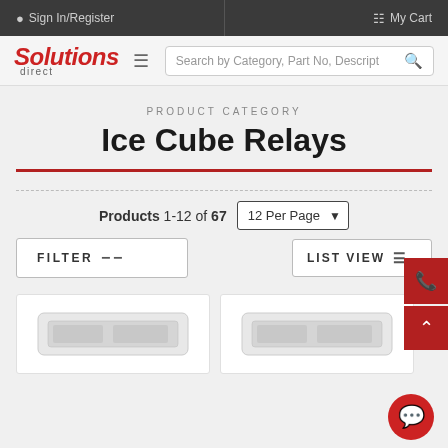Sign In/Register | My Cart
[Figure (logo): Solutions Direct logo with hamburger menu and search bar]
PRODUCT CATEGORY
Ice Cube Relays
Products 1-12 of 67  12 Per Page
FILTER  LIST VIEW
[Figure (photo): Two product images of ice cube relays at the bottom of the page]